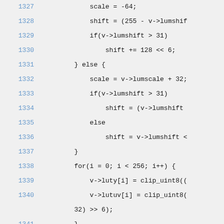1327    scale = -64;
1328    shift = (255 - v->lumshif
1329    if(v->lumshift > 31)
1330        shift += 128 << 6;
1331    } else {
1332        scale = v->lumscale + 32;
1333        if(v->lumshift > 31)
1334            shift = (v->lumshift
1335        else
1336            shift = v->lumshift <
1337        }
1338    for(i = 0; i < 256; i++) {
1339        v->luty[i] = clip_uint8((
1340        v->lutuv[i] = clip_uint8(
        32) >> 6);
1341    }